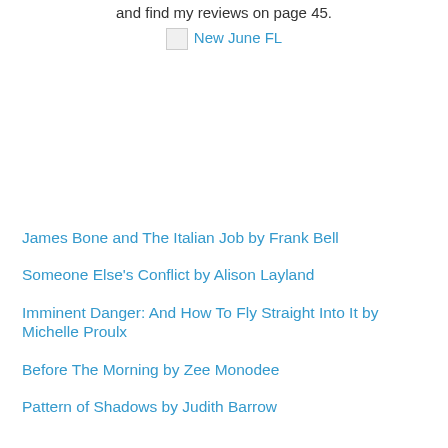and find my reviews on page 45.
[Figure (other): Image placeholder labeled 'New June FL']
James Bone and The Italian Job by Frank Bell
Someone Else's Conflict by Alison Layland
Imminent Danger: And How To Fly Straight Into It by Michelle Proulx
Before The Morning by Zee Monodee
Pattern of Shadows by Judith Barrow